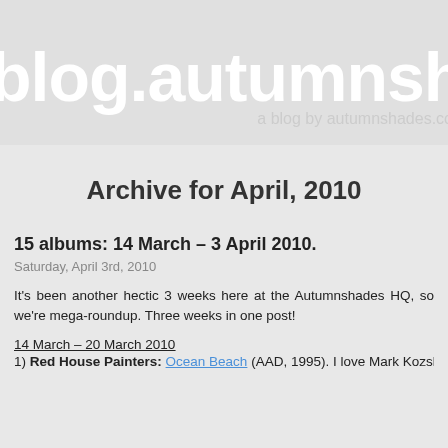blog.autumnsha... a blog by autumnshades.co...
Archive for April, 2010
15 albums: 14 March – 3 April 2010.
Saturday, April 3rd, 2010
It's been another hectic 3 weeks here at the Autumnshades HQ, so we're mega-roundup. Three weeks in one post!
14 March – 20 March 2010
1) Red House Painters: Ocean Beach (AAD, 1995). I love Mark Kozslek a...